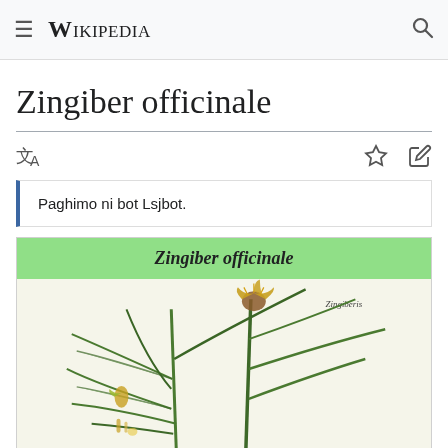≡ WIKIPEDIA 🔍
Zingiber officinale
Paghimo ni bot Lsjbot.
Zingiber officinale
[Figure (illustration): Botanical illustration of Zingiber officinale (ginger plant) showing green leaves, stem, and yellow-brown flowers with small label 'Zingiberis' in top right.]